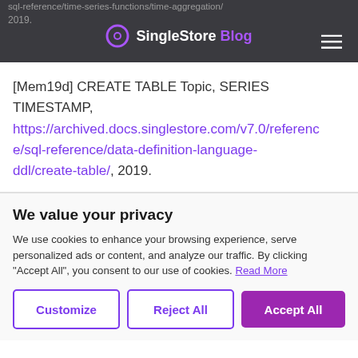SingleStore Blog
[Mem19d] CREATE TABLE Topic, SERIES TIMESTAMP, https://archived.docs.singlestore.com/v7.0/reference/sql-reference/data-definition-language-ddl/create-table/, 2019.
We value your privacy
We use cookies to enhance your browsing experience, serve personalized ads or content, and analyze our traffic. By clicking "Accept All", you consent to our use of cookies. Read More
Customize
Reject All
Accept All